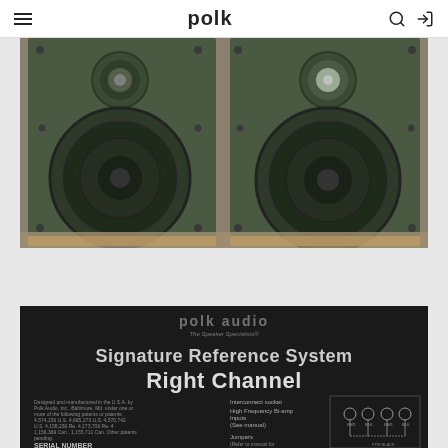polk
[Figure (photo): Two vintage Polk Audio speakers side by side, dark olive/green cabinet color, showing large woofer drivers and tweeter domes, photographed from the front without grilles]
[Figure (photo): Close-up of Polk Audio speaker label plate reading 'Signature Reference System Right Channel', with The Speaker Specialists logo, serial number field, interconnect socket diagram, High Frequency Bi-amp Inputs, jumpers, and wiring diagram]